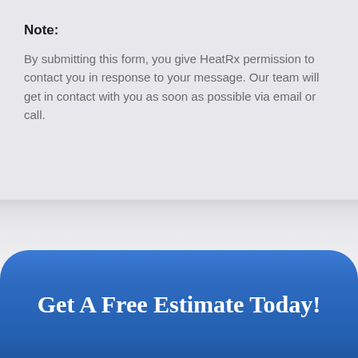Note:
By submitting this form, you give HeatRx permission to contact you in response to your message. Our team will get in contact with you as soon as possible via email or call.
Get A Free Estimate Today!